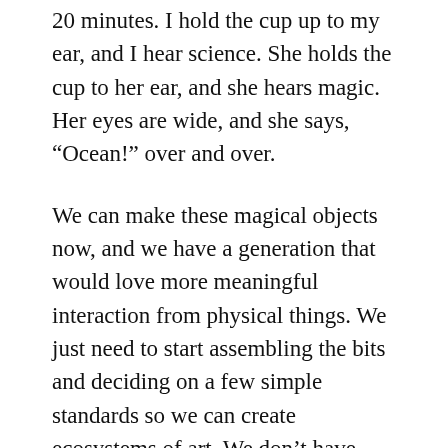20 minutes. I hold the cup up to my ear, and I hear science.  She holds the cup to her ear, and she hears magic.  Her eyes are wide, and she says, “Ocean!” over and over.
We can make these magical objects now, and we have a generation that would love more meaningful interaction from physical things.  We just need to start assembling the bits and deciding on a few simple standards so we can create ecosystems of art.  We don’t have magic, but we have something that’s nearly as good.  We have software...